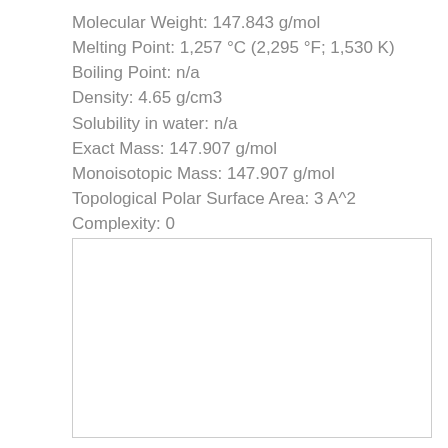Molecular Weight: 147.843 g/mol
Melting Point: 1,257 °C (2,295 °F; 1,530 K)
Boiling Point: n/a
Density: 4.65 g/cm3
Solubility in water: n/a
Exact Mass: 147.907 g/mol
Monoisotopic Mass: 147.907 g/mol
Topological Polar Surface Area: 3 A^2
Complexity: 0
[Figure (other): Empty white box with light gray border, likely a placeholder for a molecular structure diagram.]